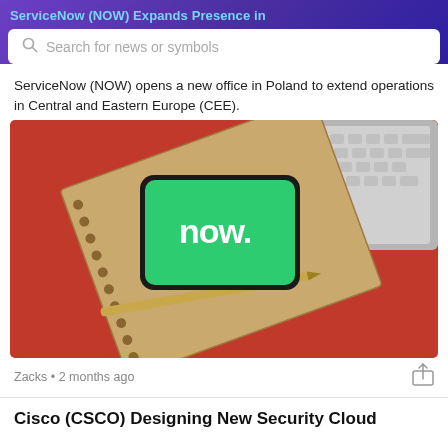ServiceNow (NOW) Expands Presence in
ServiceNow (NOW) opens a new office in Poland to extend operations in Central and Eastern Europe (CEE).
[Figure (photo): Photo of a smartphone displaying the ServiceNow 'now.' logo on a green screen, resting on a spiral-bound notebook with a gold pen, on a red background, with a laptop keyboard visible in the upper right corner.]
Zacks • 2 months ago
Cisco (CSCO) Designing New Security Cloud